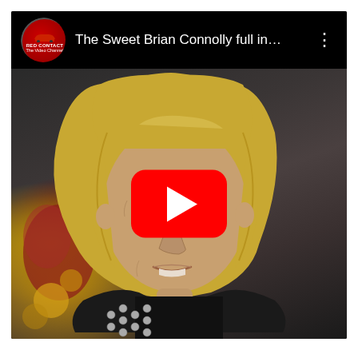[Figure (screenshot): YouTube video thumbnail showing 'The Sweet Brian Connolly full in...' with a middle-aged blonde person in a black leather jacket with silver studs, a red YouTube play button in the center, channel logo in top-left corner, and a three-dot menu icon in the top-right.]